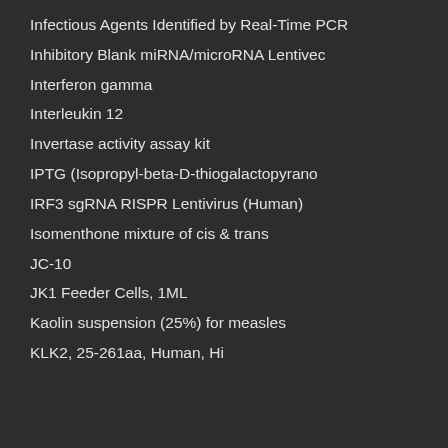Infectious Agents Identified by Real-Time PCR
Inhibitory Blank miRNA/microRNA Lentivec
Interferon gamma
Interleukin 12
Invertase activity assay kit
IPTG (Isopropyl-beta-D-thiogalactopyrano
IRF3 sgRNA RISPR Lentivirus (Human)
Isomenthone mixture of cis & trans
JC-10
JK1 Feeder Cells, 1ML
Kaolin suspension (25%) for measles
KLK2, 25-261aa, Human, Hi